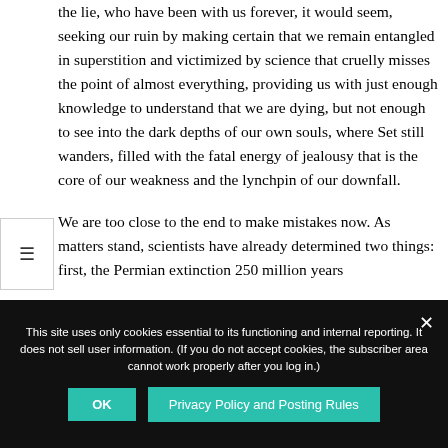the lie, who have been with us forever, it would seem, seeking our ruin by making certain that we remain entangled in superstition and victimized by science that cruelly misses the point of almost everything, providing us with just enough knowledge to understand that we are dying, but not enough to see into the dark depths of our own souls, where Set still wanders, filled with the fatal energy of jealousy that is the core of our weakness and the lynchpin of our downfall.

We are too close to the end to make mistakes now. As matters stand, scientists have already determined two things: first, the Permian extinction 250 million years
This site uses only cookies essential to its functioning and internal reporting. It does not sell user information. (If you do not accept cookies, the subscriber area cannot work properly after you log in.)